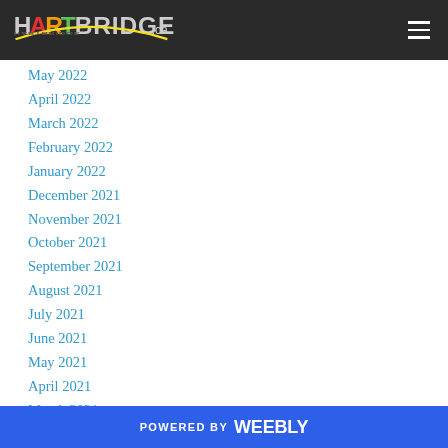HARTBRIDGE.ca
May 2022
April 2022
March 2022
February 2022
January 2022
December 2021
November 2021
October 2021
September 2021
August 2021
July 2021
June 2021
May 2021
April 2021
March 2021
POWERED BY weebly